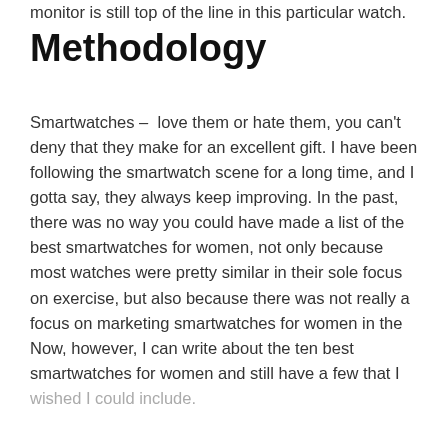monitor is still top of the line in this particular watch.
Methodology
Smartwatches – love them or hate them, you can't deny that they make for an excellent gift. I have been following the smartwatch scene for a long time, and I gotta say, they always keep improving. In the past, there was no way you could have made a list of the best smartwatches for women, not only because most watches were pretty similar in their sole focus on exercise, but also because there was not really a focus on marketing smartwatches for women in the Now, however, I can write about the ten best smartwatches for women and still have a few that I wished I could include.